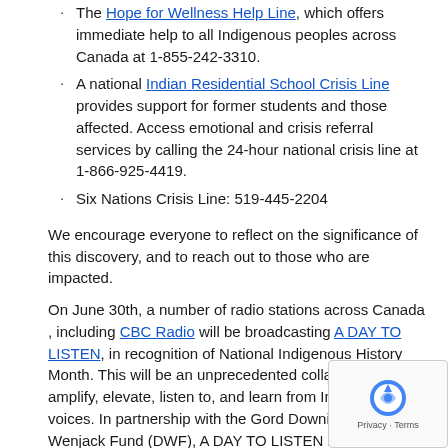The Hope for Wellness Help Line, which offers immediate help to all Indigenous peoples across Canada at 1-855-242-3310.
A national Indian Residential School Crisis Line provides support for former students and those affected. Access emotional and crisis referral services by calling the 24-hour national crisis line at 1-866-925-4419.
Six Nations Crisis Line: 519-445-2204
We encourage everyone to reflect on the significance of this discovery, and to reach out to those who are impacted.
On June 30th, a number of radio stations across Canada , including CBC Radio will be broadcasting A DAY TO LISTEN, in recognition of National Indigenous History Month. This will be an unprecedented collaboration to amplify, elevate, listen to, and learn from Indigenous voices. In partnership with the Gord Downie & Chanie Wenjack Fund (DWF), A DAY TO LISTEN is dedicated to sharing stories from Indigenous leaders, residential school survivors, elders, musicians, and teachers throughout the day.